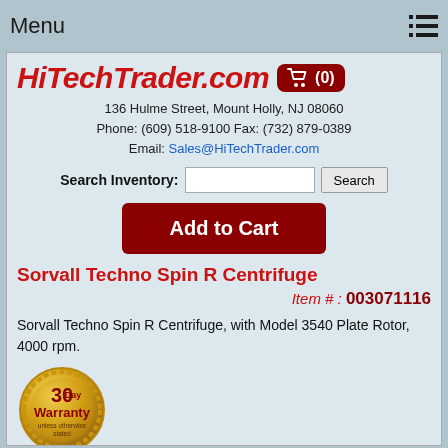Menu
[Figure (logo): HiTechTrader.com logo with shopping cart icon showing (0) items]
136 Hulme Street, Mount Holly, NJ 08060
Phone: (609) 518-9100 Fax: (732) 879-0389
Email: Sales@HiTechTrader.com
Search Inventory: [input field] [Search button]
Add to Cart
Sorvall Techno Spin R Centrifuge
Item # : 003071116
Sorvall Techno Spin R Centrifuge, with Model 3540 Plate Rotor, 4000 rpm.
[Figure (illustration): 30 Day Warranty badge (gold medallion) - unless otherwise stated]